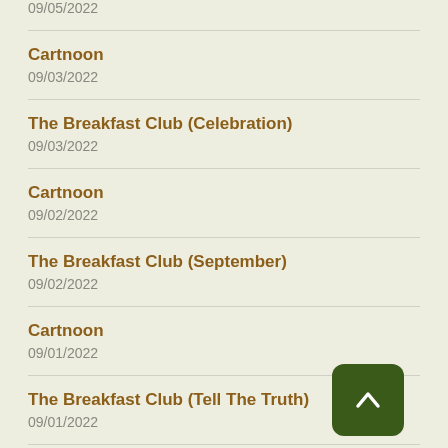09/05/2022
Cartnoon
09/03/2022
The Breakfast Club (Celebration)
09/03/2022
Cartnoon
09/02/2022
The Breakfast Club (September)
09/02/2022
Cartnoon
09/01/2022
The Breakfast Club (Tell The Truth)
09/01/2022
Cartnoon